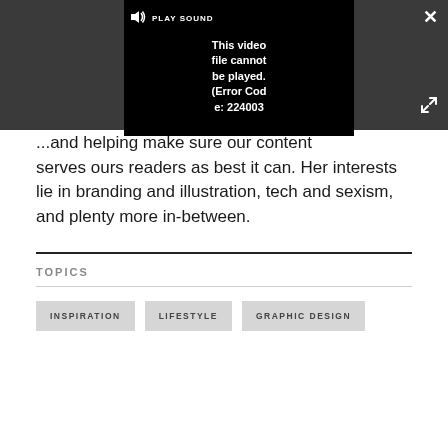[Figure (screenshot): Video player embedded in a dark gray overlay bar. The player shows a black window with a 'PLAY SOUND' bar at the top (with speaker icon), and an error message reading 'This video file cannot be played. (Error Code: 224003)'. A white X close button appears top-right, and a white expand/fullscreen icon appears bottom-right of the overlay.]
...and helping make sure our content serves ours readers as best it can. Her interests lie in branding and illustration, tech and sexism, and plenty more in-between.
TOPICS
INSPIRATION
LIFESTYLE
GRAPHIC DESIGN